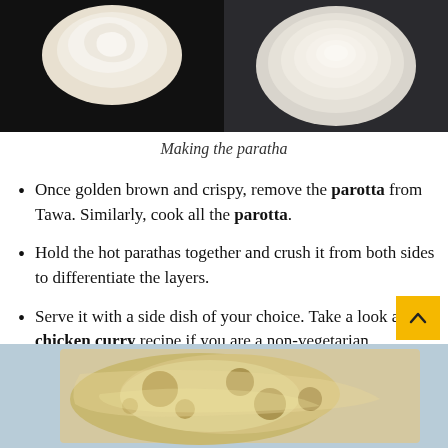[Figure (photo): Two food preparation photos side by side: left shows dough on dark surface, right shows rolled dough on dark surface]
Making the paratha
Once golden brown and crispy, remove the parotta from Tawa. Similarly, cook all the parotta.
Hold the hot parathas together and crush it from both sides to differentiate the layers.
Serve it with a side dish of your choice. Take a look at our chicken curry recipe if you are a non-vegetarian.
[Figure (photo): Cooked paratha/parotta flatbread with golden brown spots on a light blue background]